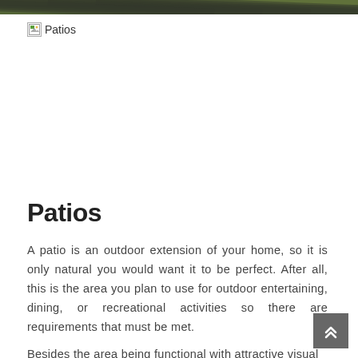[Figure (photo): Partial view of a patio or outdoor area with brick/stone pavers and grass, cropped at the top of the page]
[Figure (other): Broken image placeholder icon with alt text 'Patios']
Patios
A patio is an outdoor extension of your home, so it is only natural you would want it to be perfect. After all, this is the area you plan to use for outdoor entertaining, dining, or recreational activities so there are requirements that must be met.
Besides the area being functional with attractive visual